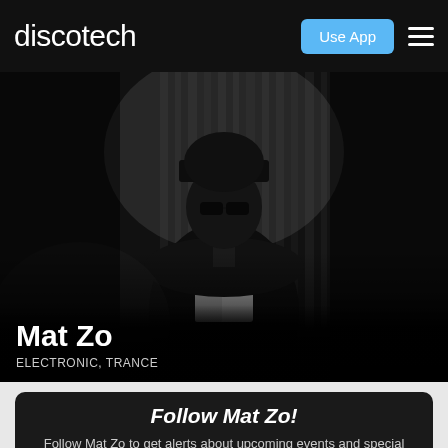discotech
[Figure (photo): Black and white promotional photo of DJ Mat Zo wearing a cap and track jacket, looking upward against a striped background with dramatic lighting]
Mat Zo
ELECTRONIC, TRANCE
Follow Mat Zo!
Follow Mat Zo to get alerts about upcoming events and special deals!